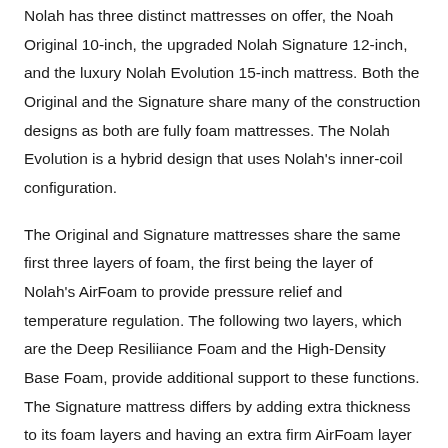Nolah has three distinct mattresses on offer, the Noah Original 10-inch, the upgraded Nolah Signature 12-inch, and the luxury Nolah Evolution 15-inch mattress. Both the Original and the Signature share many of the construction designs as both are fully foam mattresses. The Nolah Evolution is a hybrid design that uses Nolah's inner-coil configuration.
The Original and Signature mattresses share the same first three layers of foam, the first being the layer of Nolah's AirFoam to provide pressure relief and temperature regulation. The following two layers, which are the Deep Resiliiance Foam and the High-Density Base Foam, provide additional support to these functions. The Signature mattress differs by adding extra thickness to its foam layers and having an extra firm AirFoam layer beneath the base foam so you can easily switch how firm or how plush you want your mattress to be.
Nolah's Evolution mattress is Nolah's best-selling model. This is due to the HD Max Temp Support Coils Nolah uses, which are able to...